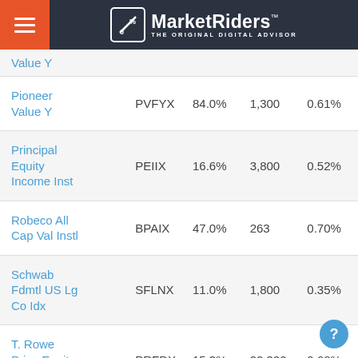MarketRiders THE ORIGINAL DIGITAL ADVISOR
| Fund Name | Ticker | Allocation | Min Shares | Expense Ratio |
| --- | --- | --- | --- | --- |
| Value Y |  |  |  |  |
| Pioneer Value Y | PVFYX | 84.0% | 1,300 | 0.61% |
| Principal Equity Income Inst | PEIIX | 16.6% | 3,800 | 0.52% |
| Robeco All Cap Val Instl | BPAIX | 47.0% | 263 | 0.70% |
| Schwab Fdmtl US Lg Co Idx | SFLNX | 11.0% | 1,800 | 0.35% |
| T. Rowe Price Equity Income | PRFDX | 15.3% | 22,300 | 0.68% |